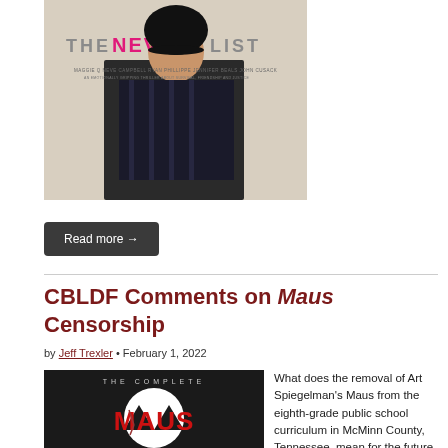[Figure (photo): Movie poster for 'The Never List' showing a person in a plaid shirt with bold pink and grey text overlay]
Read more →
CBLDF Comments on Maus Censorship
by Jeff Trexler • February 1, 2022
[Figure (photo): Book cover of 'The Complete Maus' by Art Spiegelman showing bold red text on dark background with geometric shapes]
What does the removal of Art Spiegelman's Maus from the eighth-grade public school curriculum in McMinn County, Tennessee, mean for the future of comic